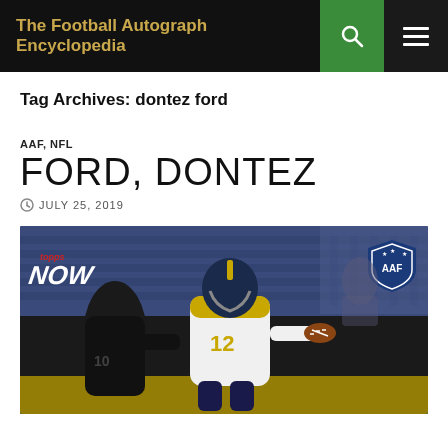The Football Autograph Encyclopedia
Tag Archives: dontez ford
AAF, NFL
FORD, DONTEZ
JULY 25, 2019
[Figure (photo): Topps NOW trading card showing Dontez Ford (#12) in a white and gold AAF uniform reaching for a ball during a game action shot. The card has the Topps NOW logo in the upper left and the AAF shield logo in the upper right.]